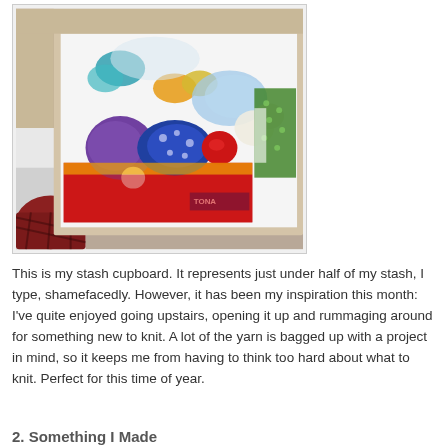[Figure (photo): A drawer or cupboard open, filled with colorful yarn balls and skeins in various colors (purple, blue, red, yellow, white), some in plastic bags, along with boxes and fabric items. The drawer appears to be part of a white dresser or storage unit.]
This is my stash cupboard. It represents just under half of my stash, I type, shamefacedly. However, it has been my inspiration this month: I've quite enjoyed going upstairs, opening it up and rummaging around for something new to knit. A lot of the yarn is bagged up with a project in mind, so it keeps me from having to think too hard about what to knit. Perfect for this time of year.
2. Something I Made